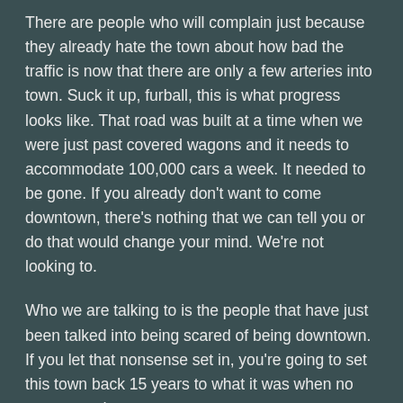There are people who will complain just because they already hate the town about how bad the traffic is now that there are only a few arteries into town. Suck it up, furball, this is what progress looks like. That road was built at a time when we were just past covered wagons and it needs to accommodate 100,000 cars a week. It needed to be gone. If you already don't want to come downtown, there's nothing that we can tell you or do that would change your mind. We're not looking to.
Who we are talking to is the people that have just been talked into being scared of being downtown. If you let that nonsense set in, you're going to set this town back 15 years to what it was when no one wanted to come